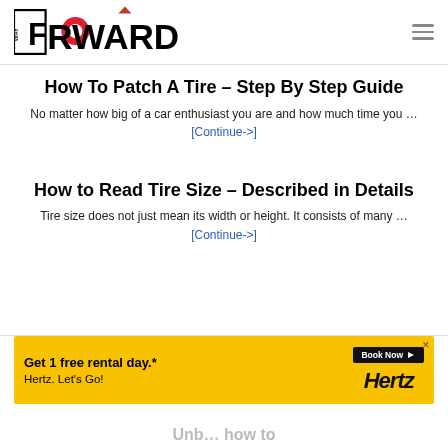Way Forward — site logo and navigation
How To Patch A Tire – Step By Step Guide
No matter how big of a car enthusiast you are and how much time you … [Continue->]
How to Read Tire Size – Described in Details
Tire size does not just mean its width or height. It consists of many … [Continue->]
[Figure (other): Hertz advertisement banner: Get 1 free rental day. Book Now. Hertz. Let's Go.]
Unb… how to